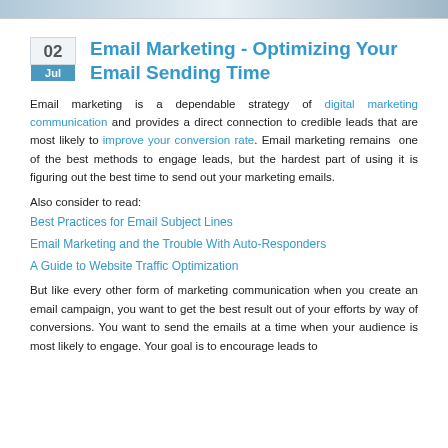[Figure (photo): Top banner image strip showing partial website/blog header imagery]
Email Marketing - Optimizing Your Email Sending Time
Email marketing is a dependable strategy of digital marketing communication and provides a direct connection to credible leads that are most likely to improve your conversion rate. Email marketing remains one of the best methods to engage leads, but the hardest part of using it is figuring out the best time to send out your marketing emails.
Also consider to read:
Best Practices for Email Subject Lines
Email Marketing and the Trouble With Auto-Responders
A Guide to Website Traffic Optimization
But like every other form of marketing communication when you create an email campaign, you want to get the best result out of your efforts by way of conversions. You want to send the emails at a time when your audience is most likely to engage. Your goal is to encourage leads to